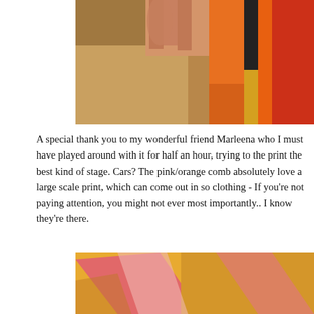[Figure (photo): Close-up photo of a person's hand holding colorful fabric with orange, red, black, and yellow sections – appears to be clothing or textile with bold block color pattern, photographed outdoors.]
A special thank you to my wonderful friend Marleena who I must have played around with it for half an hour, trying to the print the best kind of stage. Cars? The pink/orange comb absolutely love a large scale print, which can come out in so clothing - If you're not paying attention, you might not ever most importantly.. I know they're there.
[Figure (photo): Close-up photo of fabric showing diagonal stripes in yellow/orange and pink/red tones – appears to be a textile or clothing item with large-scale stripe pattern.]